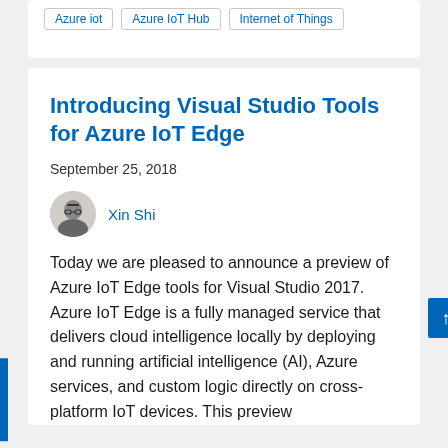Azure iot   Azure IoT Hub   Internet of Things
Introducing Visual Studio Tools for Azure IoT Edge
September 25, 2018
Xin Shi
Today we are pleased to announce a preview of Azure IoT Edge tools for Visual Studio 2017. Azure IoT Edge is a fully managed service that delivers cloud intelligence locally by deploying and running artificial intelligence (AI), Azure services, and custom logic directly on cross-platform IoT devices. This preview